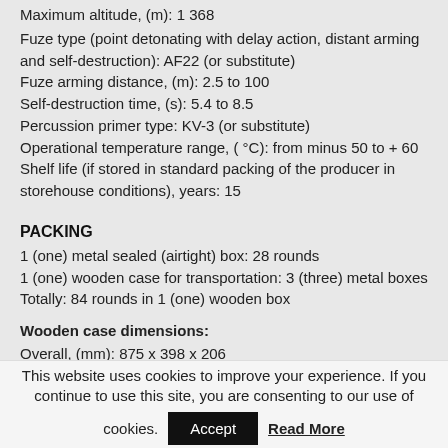Maximum altitude, (m): 1 368
Fuze type (point detonating with delay action, distant arming and self-destruction): AF22 (or substitute)
Fuze arming distance, (m): 2.5 to 100
Self-destruction time, (s): 5.4 to 8.5
Percussion primer type: KV-3 (or substitute)
Operational temperature range, ( °C): from minus 50 to + 60
Shelf life (if stored in standard packing of the producer in storehouse conditions), years: 15
PACKING
1 (one) metal sealed (airtight) box: 28 rounds
1 (one) wooden case for transportation: 3 (three) metal boxes
Totally: 84 rounds in 1 (one) wooden box
Wooden case dimensions:
Overall, (mm): 875 x 398 x 206
This website uses cookies to improve your experience. If you continue to use this site, you are consenting to our use of cookies.